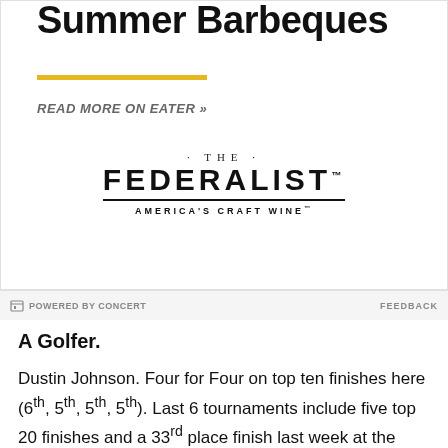Summer Barbeques
READ MORE ON EATER »
[Figure (logo): The Federalist America's Craft Wine logo]
POWERED BY CONCERT   FEEDBACK
A Golfer.
Dustin Johnson. Four for Four on top ten finishes here (6th, 5th, 5th, 5th). Last 6 tournaments include five top 20 finishes and a 33rd place finish last week at the BMW Championship. This one seems like as good a bet as any.